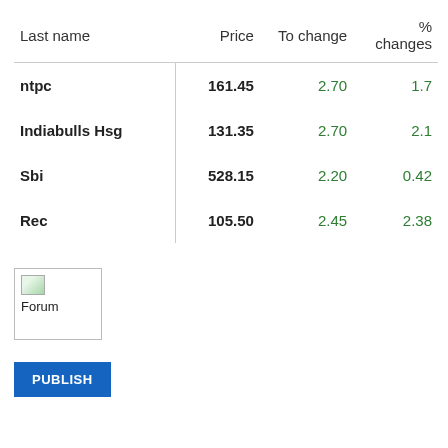| Last name | Price | To change | % changes |
| --- | --- | --- | --- |
| ntpc | 161.45 | 2.70 | 1.7 |
| Indiabulls Hsg | 131.35 | 2.70 | 2.1 |
| Sbi | 528.15 | 2.20 | 0.42 |
| Rec | 105.50 | 2.45 | 2.38 |
[Figure (illustration): Small icon with broken image indicator and text 'Forum' below it, inside a bordered box]
PUBLISH